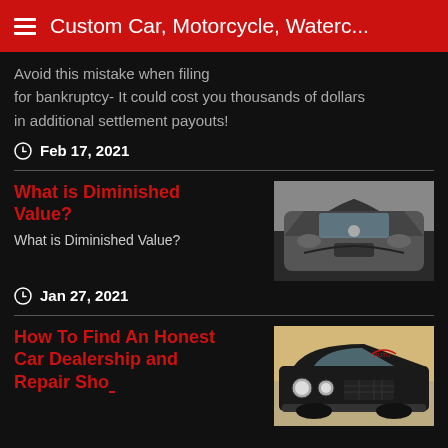Custom Car, Motorcycle, Waterc...
Avoid this mistake when filing for bankruptcy- It could cost you thousands of dollars in additional settlement payouts!
Feb 17, 2021
What is Diminished Value?
What is Diminished Value?
Jan 27, 2021
How To Find An Honest Car Dealership and Repair Shop
[Figure (photo): Front view of a damaged BMW car with crumpled hood and broken headlights]
[Figure (photo): Front view of a black vintage custom truck/car with a red logo on the windshield]